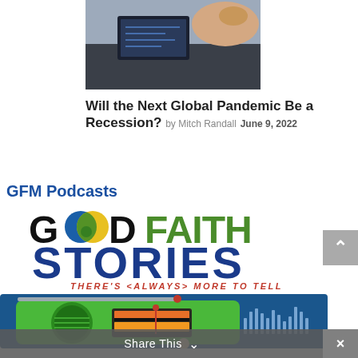[Figure (photo): Partial photo of a hand holding a smartphone near what appears to be a payment terminal or device, cropped at top]
Will the Next Global Pandemic Be a Recession? by Mitch Randall June 9, 2022
GFM Podcasts
[Figure (logo): Good Faith Stories podcast logo — large text reading GOODFAITH STORIES with tagline THERE'S <ALWAYS> MORE TO TELL, featuring overlapping colored circles in the OO of GOOD]
[Figure (illustration): Illustrated retro green radio against a dark blue background, partially visible at bottom of page]
Share This